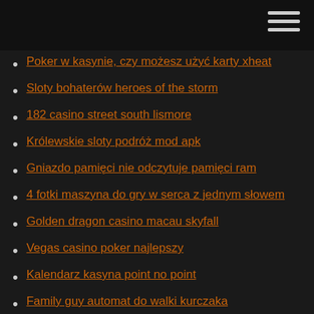Poker w kasynie, czy możesz użyć karty xheat
Sloty bohaterów heroes of the storm
182 casino street south lismore
Królewskie sloty podróż mod apk
Gniazdo pamięci nie odczytuje pamięci ram
4 fotki maszyna do gry w serca z jednym słowem
Golden dragon casino macau skyfall
Vegas casino poker najlepszy
Kalendarz kasyna point no point
Family guy automat do walki kurczaka
Automaty online na prawdziwe pieniądze zapewniają rozrywkę
Casino am zeppelinpark 12 berlin
Zarejestruj się na stronie internetowej